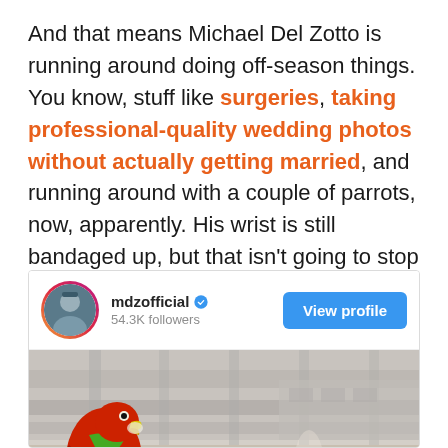And that means Michael Del Zotto is running around doing off-season things. You know, stuff like surgeries, taking professional-quality wedding photos without actually getting married, and running around with a couple of parrots, now, apparently. His wrist is still bandaged up, but that isn't going to stop him!
[Figure (screenshot): Instagram profile card for mdzofficial with 54.3K followers, showing a View profile button and a photo of two parrots outdoors near a building]